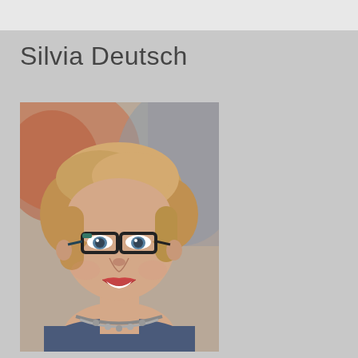Silvia Deutsch
[Figure (photo): Portrait photo of Silvia Deutsch, a woman with short blonde hair, wearing dark-rimmed glasses, smiling, with a silver necklace, against an artistic painted background]